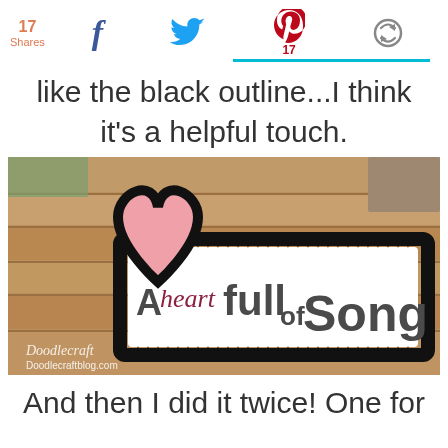17 Shares | Facebook | Twitter | Pinterest 17 | Other
like the black outline...I think it's a helpful touch.
[Figure (photo): Photo of a handmade craft sign on a wood floor reading 'A heart full of Song' with a pink heart shape and black tinsel border. Watermark: Doodlecraft Doodlecraftblog.com]
And then I did it twice!  One for